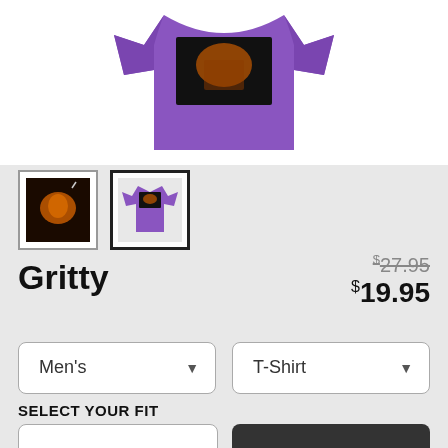[Figure (photo): Purple t-shirt with dark graphic print on a white background]
[Figure (photo): Thumbnail 1: dark graphic image (character with orange glow)]
[Figure (photo): Thumbnail 2: purple t-shirt with graphic, selected/active]
Gritty
$27.95 (strikethrough) $19.95
Men's dropdown, T-Shirt dropdown
SELECT YOUR FIT